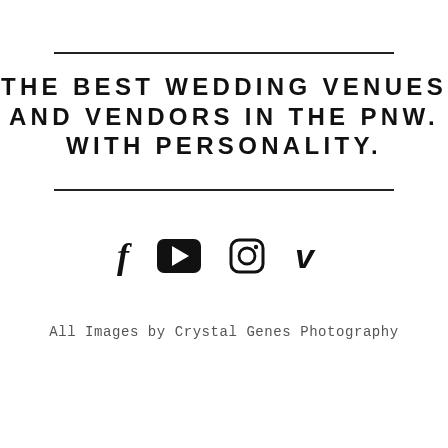THE BEST WEDDING VENUES AND VENDORS IN THE PNW. WITH PERSONALITY.
[Figure (infographic): Row of four social media icons: Facebook (f), YouTube (play button in rounded rectangle), Instagram (camera icon), Vimeo (v)]
All Images by Crystal Genes Photography